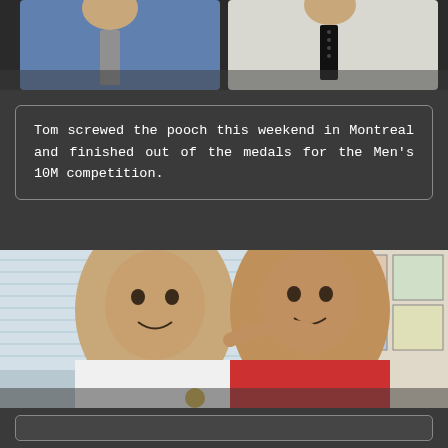[Figure (photo): Two men in suits — one in a light blue suit with grey tie, one in a white suit with black polka-dot tie — photographed from the chest up against a dark background.]
Tom screwed the pooch this weekend in Montreal and finished out of the medals for the Men's 10M competition.
[Figure (photo): Two young men smiling together in a room with white blinds and colourful posters on the wall. The one on the left wears a white t-shirt, the one on the right wears a red t-shirt and has his arm around the other. One appears to be holding a medal.]